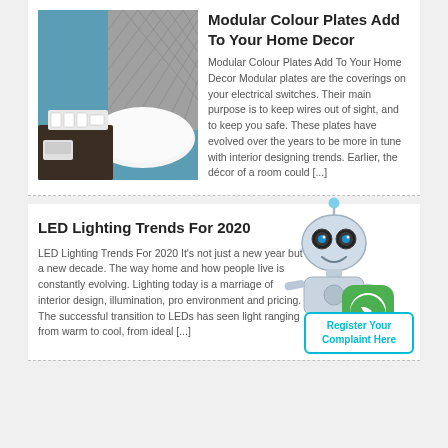[Figure (photo): Photo of a hotel bedroom with blue wall, modular switch plate, and white pillow]
Modular Colour Plates Add To Your Home Decor
Modular Colour Plates Add To Your Home Decor Modular plates are the coverings on your electrical switches. Their main purpose is to keep wires out of sight, and to keep you safe. These plates have evolved over the years to be more in tune with interior designing trends. Earlier, the décor of a room could [...]
LED Lighting Trends For 2020
LED Lighting Trends For 2020 It’s not just a new year but a new decade. The way home and how people live is constantly evolving. Lighting today is a marriage of interior design, illumination, pro environment and pricing. The successful transition to LEDs has seen light ranging from warm to cool, from ideal [...]
[Figure (illustration): Robot mascot with WhatsApp icon and Register Your Complaint Here button]